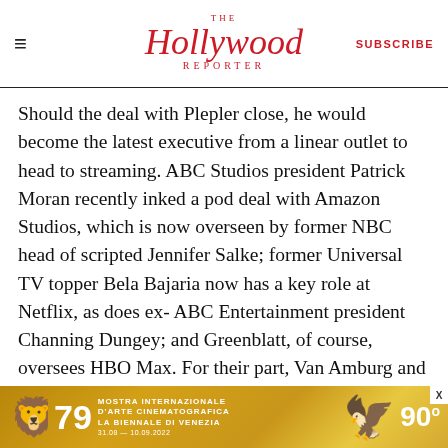The Hollywood Reporter — SUBSCRIBE
Should the deal with Plepler close, he would become the latest executive from a linear outlet to head to streaming. ABC Studios president Patrick Moran recently inked a pod deal with Amazon Studios, which is now overseen by former NBC head of scripted Jennifer Salke; former Universal TV topper Bela Bajaria now has a key role at Netflix, as does ex-ABC Entertainment president Channing Dungey; and Greenblatt, of course, oversees HBO Max. For their part, Van Amburg and Erlicht previously oversaw broadcast-focused indie studio Sony TV before heading to Apple.
[Figure (other): Advertisement banner for Mostra Internazionale D'Arte Cinematografica La Biennale Di Venezia, 79th edition, 31.08 - 10.09.2022, showing lion logo, number 79, and a golden bird figure]